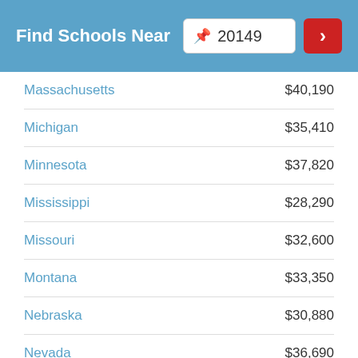Find Schools Near 20149
| State | Salary |
| --- | --- |
| Massachusetts | $40,190 |
| Michigan | $35,410 |
| Minnesota | $37,820 |
| Mississippi | $28,290 |
| Missouri | $32,600 |
| Montana | $33,350 |
| Nebraska | $30,880 |
| Nevada | $36,690 |